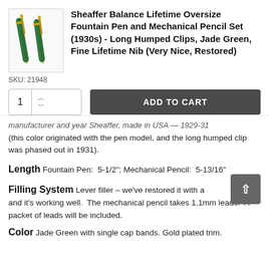Sheaffer Balance Lifetime Oversize Fountain Pen and Mechanical Pencil Set (1930s) - Long Humped Clips, Jade Green, Fine Lifetime Nib (Very Nice, Restored)
SKU: 21948
[Figure (illustration): Photo of two green Sheaffer fountain pens with gold trim on a white background]
ADD TO CART button and quantity selector (1)
manufacturer and year Sheaffer, made in USA — 1929-31 (this color originated with the pen model, and the long humped clip was phased out in 1931).
Length  Fountain Pen:  5-1/2"; Mechanical Pencil:  5-13/16"
Filling System  Lever filler – we've restored it with a [new sac] and it's working well.  The mechanical pencil takes 1.1mm leads.  A packet of leads will be included.
Color  Jade Green with single cap bands. Gold plated trim.